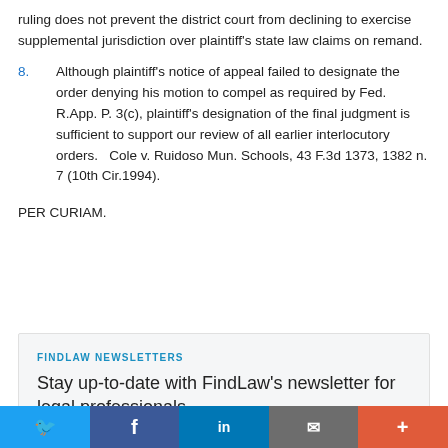ruling does not prevent the district court from declining to exercise supplemental jurisdiction over plaintiff's state law claims on remand.
8.   Although plaintiff's notice of appeal failed to designate the order denying his motion to compel as required by Fed. R.App. P. 3(c), plaintiff's designation of the final judgment is sufficient to support our review of all earlier interlocutory orders.   Cole v. Ruidoso Mun. Schools, 43 F.3d 1373, 1382 n. 7 (10th Cir.1994).
PER CURIAM.
FINDLAW NEWSLETTERS
Stay up-to-date with FindLaw's newsletter for legal professionals
Twitter | Facebook | LinkedIn | Email | More